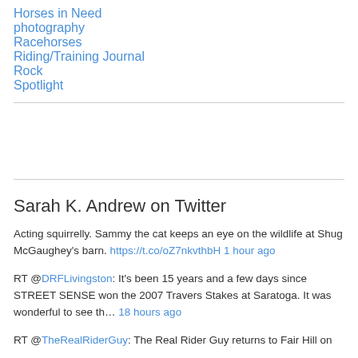Horses in Need
photography
Racehorses
Riding/Training Journal
Rock
Spotlight
Sarah K. Andrew on Twitter
Acting squirrelly. Sammy the cat keeps an eye on the wildlife at Shug McGaughey's barn. https://t.co/oZ7nkvthbH 1 hour ago
RT @DRFLivingston: It's been 15 years and a few days since STREET SENSE won the 2007 Travers Stakes at Saratoga. It was wonderful to see th… 18 hours ago
RT @TheRealRiderGuy: The Real Rider Guy returns to Fair Hill on